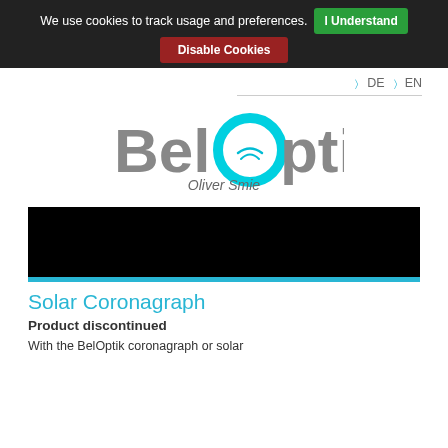We use cookies to track usage and preferences. I Understand Disable Cookies
DE  EN
[Figure (logo): BelOptik Oliver Smie logo — grey text with a cyan/turquoise circular lens icon replacing the letter O]
[Figure (photo): Black rectangular product image area with a cyan blue bar at the bottom]
Solar Coronagraph
Product discontinued
With the BelOptik coronagraph or solar